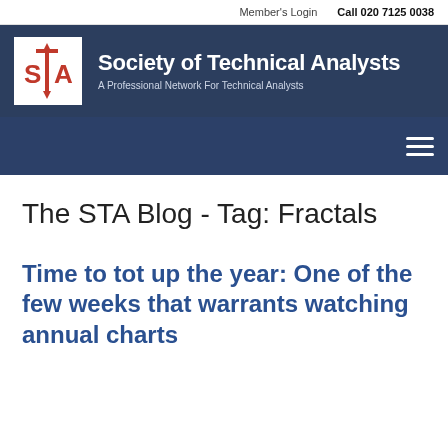Member's Login   Call 020 7125 0038
[Figure (logo): Society of Technical Analysts (STA) logo — red STA lettering with arrows on white background]
Society of Technical Analysts — A Professional Network For Technical Analysts
The STA Blog - Tag: Fractals
Time to tot up the year: One of the few weeks that warrants watching annual charts